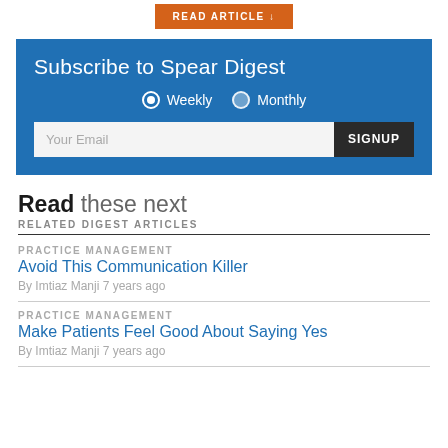READ ARTICLE ↓
Subscribe to Spear Digest
Weekly  Monthly
Your Email  SIGNUP
Read these next
RELATED DIGEST ARTICLES
PRACTICE MANAGEMENT
Avoid This Communication Killer
By Imtiaz Manji 7 years ago
PRACTICE MANAGEMENT
Make Patients Feel Good About Saying Yes
By Imtiaz Manji 7 years ago